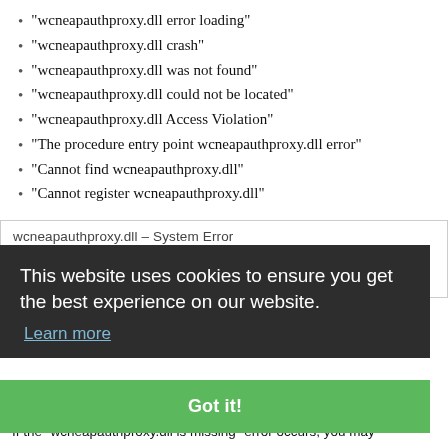“wcneapauthproxy.dll error loading”
“wcneapauthproxy.dll crash”
“wcneapauthproxy.dll was not found”
“wcneapauthproxy.dll could not be located”
“wcneapauthproxy.dll Access Violation”
“The procedure entry point wcneapauthproxy.dll error”
“Cannot find wcneapauthproxy.dll”
“Cannot register wcneapauthproxy.dll”
[Figure (screenshot): Dialog box showing 'wcneapauthproxy.dll – System Error' with text about the file to fix]
This website uses cookies to ensure you get the best experience on our website. Learn more
Got it!
How to fix WcneapauthProxy.dll missing error?
If the “wcneapauthproxy.dll is missing” error occurs, you may